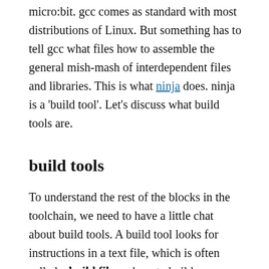micro:bit. gcc comes as standard with most distributions of Linux. But something has to tell gcc what files how to assemble the general mish-mash of interdependent files and libraries. This is what ninja does. ninja is a 'build tool'. Let's discuss what build tools are.
build tools
To understand the rest of the blocks in the toolchain, we need to have a little chat about build tools. A build tool looks for instructions in a text file, which is often called a build file on how to build 'something'. That something could be how to use a compiler to compile and link files, to produce a final product.